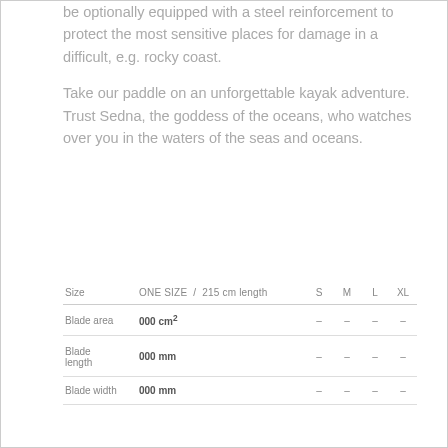be optionally equipped with a steel reinforcement to protect the most sensitive places for damage in a difficult, e.g. rocky coast.
Take our paddle on an unforgettable kayak adventure.
Trust Sedna, the goddess of the oceans, who watches over you in the waters of the seas and oceans.
| Size | ONE SIZE / 215 cm length | S | M | L | XL |
| --- | --- | --- | --- | --- | --- |
| Blade area | 000 cm² | – | – | – | – |
| Blade length | 000 mm | – | – | – | – |
| Blade width | 000 mm | – | – | – | – |